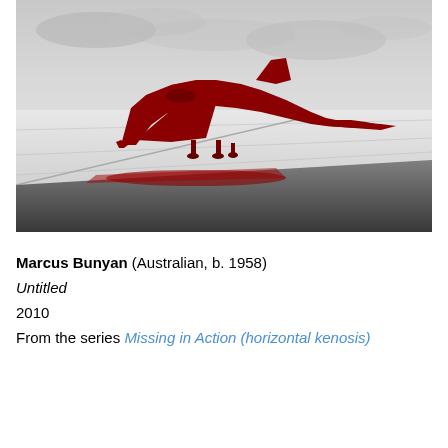[Figure (photo): Black and white photograph of an airport tarmac with a large red silhouette of a delta-wing military jet aircraft (resembling a Mirage fighter) overlaid in solid red color. The background shows a cloudy sky and concrete runway surfaces in grayscale, while the aircraft and its shadow are rendered in vivid red.]
Marcus Bunyan (Australian, b. 1958)
Untitled
2010
From the series Missing in Action (horizontal kenosis)